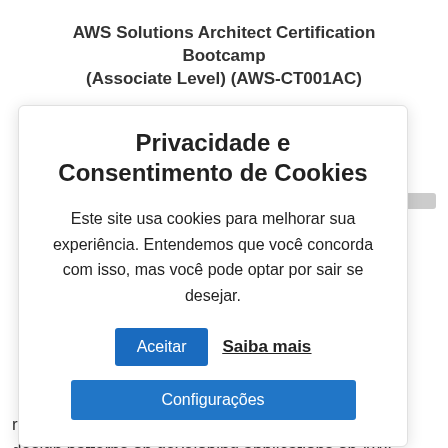AWS Solutions Architect Certification Bootcamp (Associate Level) (AWS-CT001AC)
[Figure (screenshot): Cookie consent modal overlay in Portuguese with title 'Privacidade e Consentimento de Cookies', body text, Aceitar and Saiba mais buttons, and Configurações button. Behind the modal, partially visible page content about AWS architecture.]
design patterns on developing applications on AWS